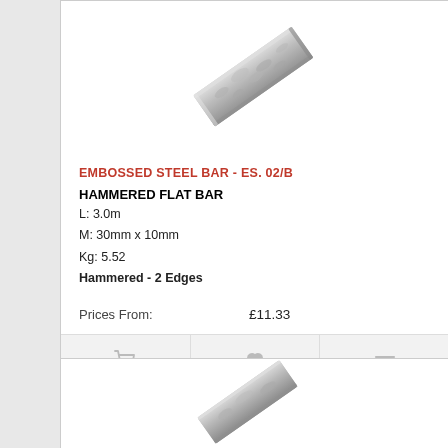[Figure (photo): Hammered flat steel bar shown diagonally, metallic grey with textured surface and hammered edges]
EMBOSSED STEEL BAR - ES. 02/B
HAMMERED FLAT BAR
L: 3.0m
M: 30mm x 10mm
Kg: 5.52
Hammered - 2 Edges
Prices From:          £11.33
[Figure (photo): Second product image partially visible at bottom - hammered steel bar shown diagonally]